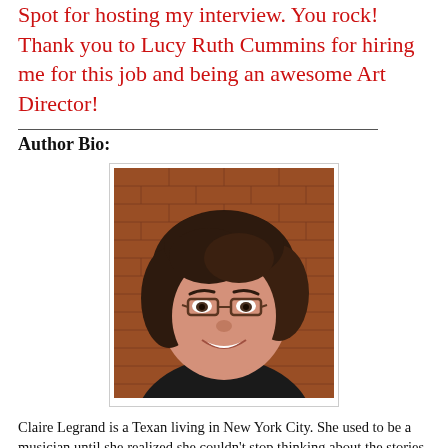Spot for hosting my interview. You rock! Thank you to Lucy Ruth Cummins for hiring me for this job and being an awesome Art Director!
Author Bio:
[Figure (photo): Headshot portrait of a woman with curly dark brown hair, glasses, smiling, against a brick wall background.]
Claire Legrand is a Texan living in New York City. She used to be a musician until she realized she couldn't stop thinking about the stories in her head. Now a full-time writer, Claire can often be found typing with purpose on her keyboard or spontaneously embarking upon adventures to lands unknown. The Cavendish Home for Boys and Girls is her first novel, due out August 28 from Simon & Schuster Books For Young Readers. Her second novel, The Year of Shadows, a